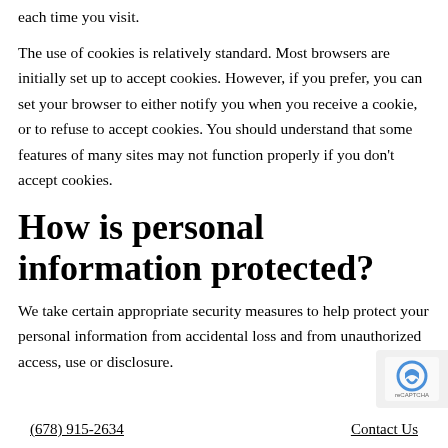each time you visit.
The use of cookies is relatively standard. Most browsers are initially set up to accept cookies. However, if you prefer, you can set your browser to either notify you when you receive a cookie, or to refuse to accept cookies. You should understand that some features of many sites may not function properly if you don't accept cookies.
How is personal information protected?
We take certain appropriate security measures to help protect your personal information from accidental loss and from unauthorized access, use or disclosure.
(678) 915-2634   Contact Us